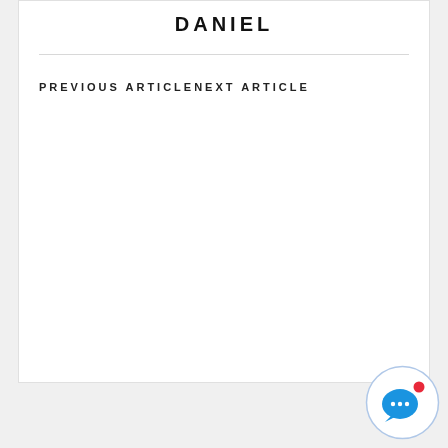DANIEL
PREVIOUS ARTICLENEXT ARTICLE
[Figure (illustration): Chat widget icon: circular button with speech bubble and red notification dot]